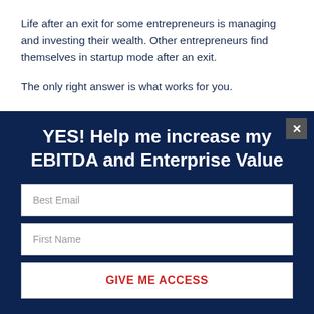Life after an exit for some entrepreneurs is managing and investing their wealth. Other entrepreneurs find themselves in startup mode after an exit.
The only right answer is what works for you.
Know this and know this well.
YES! Help me increase my EBITDA and Enterprise Value
Best Email
First Name
GIVE ME ACCESS